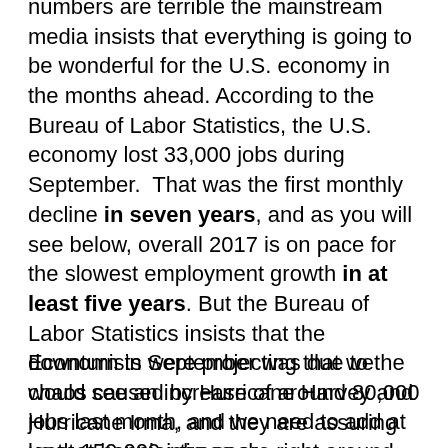numbers are terrible the mainstream media insists that everything is going to be wonderful for the U.S. economy in the months ahead. According to the Bureau of Labor Statistics, the U.S. economy lost 33,000 jobs during September. That was the first monthly decline in seven years, and as you will see below, overall 2017 is on pace for the slowest employment growth in at least five years. But the Bureau of Labor Statistics insists that the downturn in September was due to the chaos caused by Hurricane Harvey and Hurricane Irma, and they are assuring us that happier times are right around the corner.
Economists were projecting that we would see an increase of around 80,000 jobs last month, and we need to add at least 150,000 jobs each